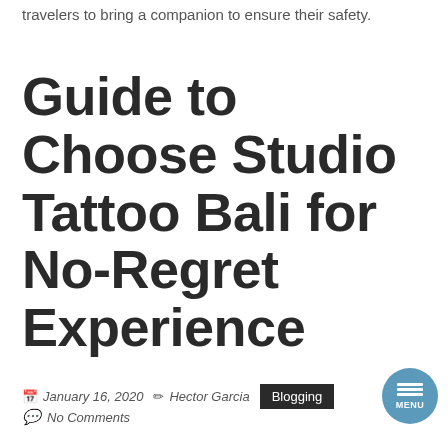travelers to bring a companion to ensure their safety.
Guide to Choose Studio Tattoo Bali for No-Regret Experience
January 16, 2020  Hector Garcia  Blogging  No Comments